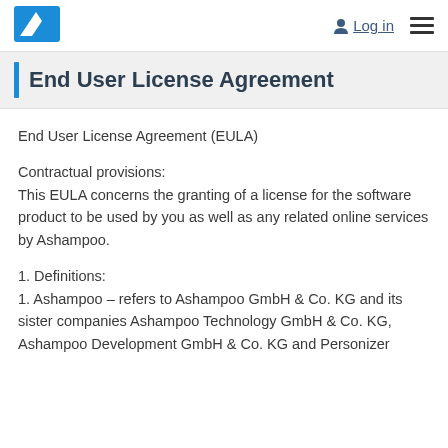Log in [hamburger menu]
End User License Agreement
End User License Agreement (EULA)
Contractual provisions:
This EULA concerns the granting of a license for the software product to be used by you as well as any related online services by Ashampoo.
1. Definitions:
1. Ashampoo – refers to Ashampoo GmbH & Co. KG and its sister companies Ashampoo Technology GmbH & Co. KG, Ashampoo Development GmbH & Co. KG and Personizer